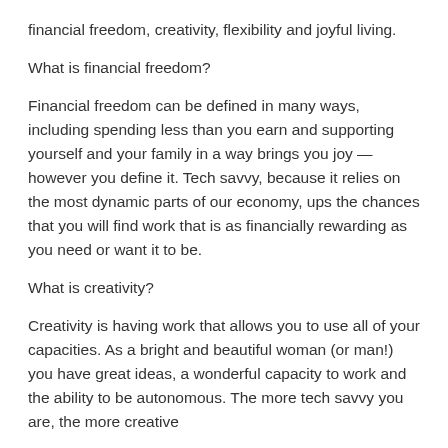financial freedom, creativity, flexibility and joyful living.
What is financial freedom?
Financial freedom can be defined in many ways, including spending less than you earn and supporting yourself and your family in a way brings you joy — however you define it. Tech savvy, because it relies on the most dynamic parts of our economy, ups the chances that you will find work that is as financially rewarding as you need or want it to be.
What is creativity?
Creativity is having work that allows you to use all of your capacities. As a bright and beautiful woman (or man!) you have great ideas, a wonderful capacity to work and the ability to be autonomous. The more tech savvy you are, the more creative